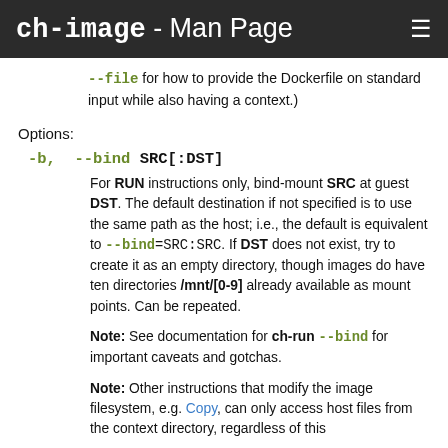ch-image - Man Page
--file for how to provide the Dockerfile on standard input while also having a context.)
Options:
-b, --bind SRC[:DST]
For RUN instructions only, bind-mount SRC at guest DST. The default destination if not specified is to use the same path as the host; i.e., the default is equivalent to --bind=SRC:SRC. If DST does not exist, try to create it as an empty directory, though images do have ten directories /mnt/[0-9] already available as mount points. Can be repeated.
Note: See documentation for ch-run --bind for important caveats and gotchas.
Note: Other instructions that modify the image filesystem, e.g. Copy, can only access host files from the context directory, regardless of this